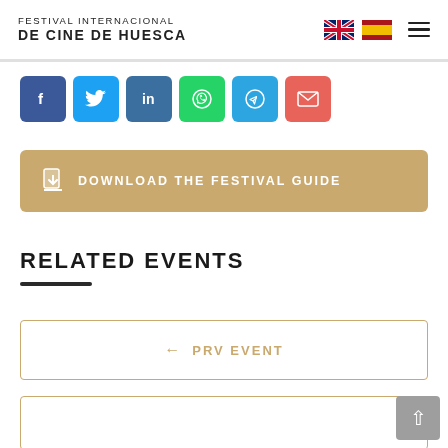FESTIVAL INTERNACIONAL DE CINE DE HUESCA
[Figure (other): Social share buttons: Facebook (blue), Twitter (light blue), LinkedIn (dark blue), WhatsApp (green), Telegram (blue), Email (red-pink)]
DOWNLOAD THE FESTIVAL GUIDE
RELATED EVENTS
← PRV EVENT